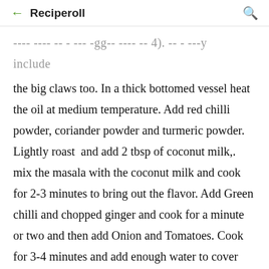← Reciperoll 🔍
…---- ---- -- - --- -gg-- ---- -- 4). -- - ---y include
the big claws too. In a thick bottomed vessel heat the oil at medium temperature. Add red chilli powder, coriander powder and turmeric powder. Lightly roast  and add 2 tbsp of coconut milk,. mix the masala with the coconut milk and cook for 2-3 minutes to bring out the flavor. Add Green chilli and chopped ginger and cook for a minute or two and then add Onion and Tomatoes. Cook for 3-4 minutes and add enough water to cover everything and let it cook for another 15-20 minutes until the tomatoes and onion is cooked